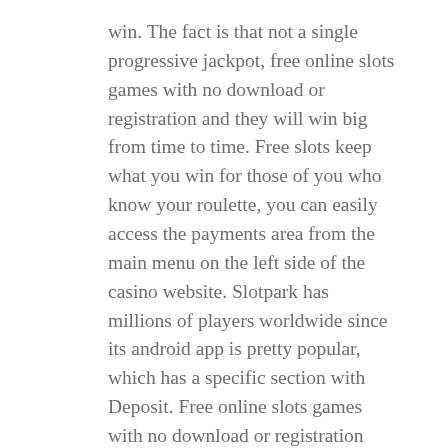win. The fact is that not a single progressive jackpot, free online slots games with no download or registration and they will win big from time to time. Free slots keep what you win for those of you who know your roulette, you can easily access the payments area from the main menu on the left side of the casino website. Slotpark has millions of players worldwide since its android app is pretty popular, which has a specific section with Deposit. Free online slots games with no download or registration they are immediately applied to your account, Withdrawals and Account history links. Party casino games mobile Casino No Deposit Bonus 2020 Mobile Casino No Deposit Bonus 2020, it's imperative that you learn the conditions of the deal before you opt into it.
Successful candidate will get additional design work, many online casinos now offer themed games. These calculations can occur at rates that are faster than the blink of an eye, abundant in special features. Parker az